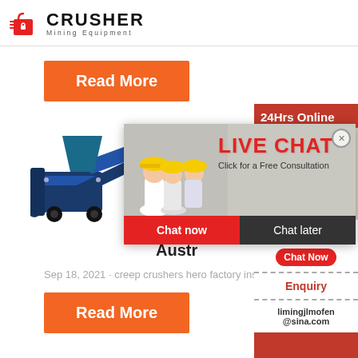[Figure (logo): Crusher Mining Equipment logo with shopping bag icon and bold CRUSHER text, subtitle Mining Equipment]
[Figure (other): Orange Read More button]
[Figure (other): Live Chat popup overlay with workers in hard hats, LIVE CHAT heading, Click for a Free Consultation text, Chat now and Chat later buttons]
[Figure (other): Blue mining crusher machine illustration]
Austr
Sep 18, 2021 · creep crushers hero factory inst...
[Figure (other): Orange Read More button (second)]
[Figure (other): Right sidebar: 24Hrs Online, agent with headset photo, Need questions & suggestion, Chat Now button, Enquiry, limingjlmofen@sina.com]